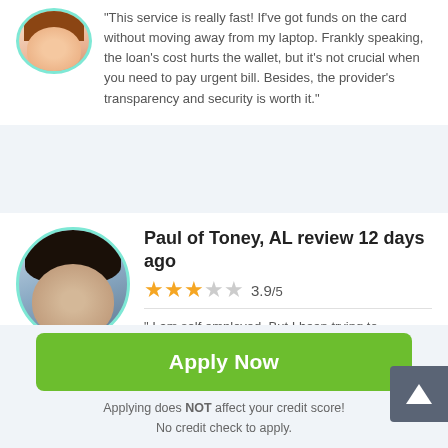"This service is really fast! If've got funds on the card without moving away from my laptop. Frankly speaking, the loan's cost hurts the wallet, but it's not crucial when you need to pay urgent bill. Besides, the provider's transparency and security is worth it."
Paul of Toney, AL review 12 days ago
[Figure (other): Star rating: 3 filled stars, 2 empty stars, rating 3.9/5]
" I am self employed. But I been trying to establish a relationship with you so when there are incidents that actually happen in between pay period there would be a...
Apply Now
Applying does NOT affect your credit score!
No credit check to apply.